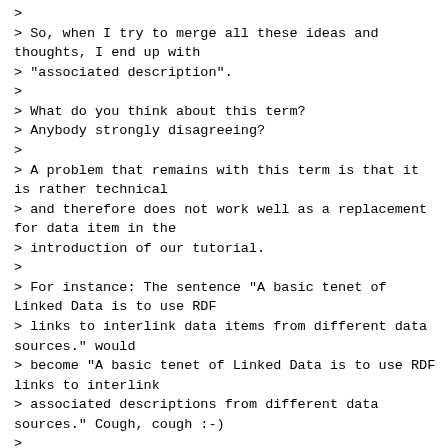>
> So, when I try to merge all these ideas and thoughts, I end up with
> "associated description".
>
> What do you think about this term?
> Anybody strongly disagreeing?
>
> A problem that remains with this term is that it is rather technical
> and therefore does not work well as a replacement for data item in the
> introduction of our tutorial.
>
> For instance: The sentence "A basic tenet of Linked Data is to use RDF
> links to interlink data items from different data sources." would
> become "A basic tenet of Linked Data is to use RDF links to interlink
> associated descriptions from different data sources." Cough, cough :-)
>
> But anyhow, the term "associated description" will work in the
> remaining technical chapters of the tutorial and we can save ourselves
> in the introduction by saying "A basic tenet of Linked Data is to use